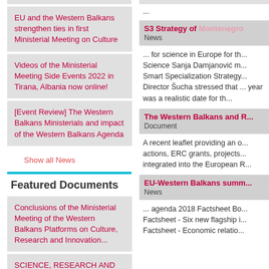EU and the Western Balkans strengthen ties in first Ministerial Meeting on Culture
Videos of the Ministerial Meeting Side Events 2022 in Tirana, Albania now online!
[Event Review] The Western Balkans Ministerials and impact of the Western Balkans Agenda
Show all News
Featured Documents
Conclusions of the Ministerial Meeting of the Western Balkans Platforms on Culture, Research and Innovation...
SCIENCE, RESEARCH AND
...
S3 Strategy of Montenegro
News
... for science in Europe for th... Science Sanja Damjanović m... Smart Specialization Strategy... Director Šucha stressed that ... year was a realistic date for th...
The Western Balkans and R...
Document
A recent leaflet providing an o... actions, ERC grants, projects... integrated into the European R...
EU-Western Balkans summ...
News
... agenda 2018 Factsheet Bo... Factsheet - Six new flagship i... Factsheet - Economic relatio...